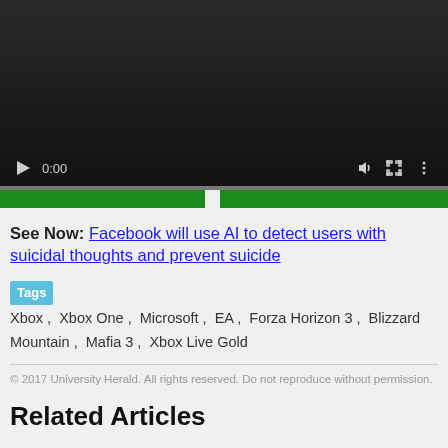[Figure (screenshot): Video player with dark background showing controls: play button, time display '0:00', progress bar, volume icon, fullscreen icon, and more options icon. Below is a green progress/brand bar.]
See Now: Facebook will use AI to detect users with suicidal thoughts and prevent suicide
Tags Xbox , Xbox One , Microsoft , EA , Forza Horizon 3 , Blizzard Mountain , Mafia 3 , Xbox Live Gold
© 2017 University Herald. All rights reserved. Do not reproduce without permission.
Related Articles